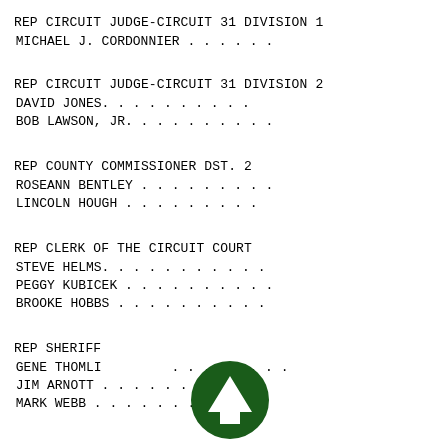REP CIRCUIT JUDGE-CIRCUIT 31 DIVISION 1
MICHAEL J. CORDONNIER . . . . . .
REP CIRCUIT JUDGE-CIRCUIT 31 DIVISION 2
DAVID JONES. . . . . . . . . .
BOB LAWSON, JR. . . . . . . . . .
REP COUNTY COMMISSIONER DST. 2
ROSEANN BENTLEY . . . . . . . . .
LINCOLN HOUGH . . . . . . . . .
REP CLERK OF THE CIRCUIT COURT
STEVE HELMS. . . . . . . . . . .
PEGGY KUBICEK . . . . . . . . . .
BROOKE HOBBS . . . . . . . . . .
REP SHERIFF
GENE THOMLI . . . . . . . . .
JIM ARNOTT . . . . . . . . . .
MARK WEBB . . . . . . . . . .